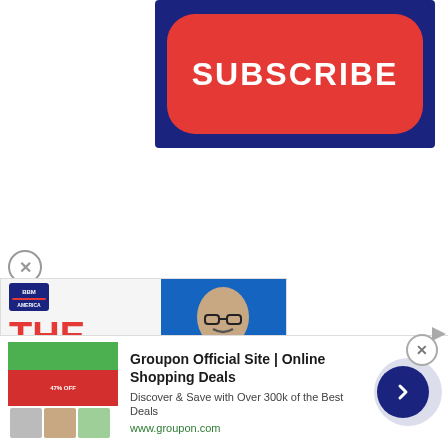[Figure (illustration): Dark blue rectangle background with a large red rounded-rectangle button containing bold white text 'SUBSCRIBE']
[Figure (illustration): The Jason Barrett Podcast banner ad showing logo, title text in red and navy, soccer ball icon, and a photo of Paul Finebaum with caption 'PAUL FINEBAUM KNOWS THE POWER']
[Figure (illustration): Groupon advertisement banner: green/red ad image on left, text 'Groupon Official Site | Online Shopping Deals', 'Discover & Save with Over 300k of the Best Deals', 'www.groupon.com', dark blue circle arrow button on right]